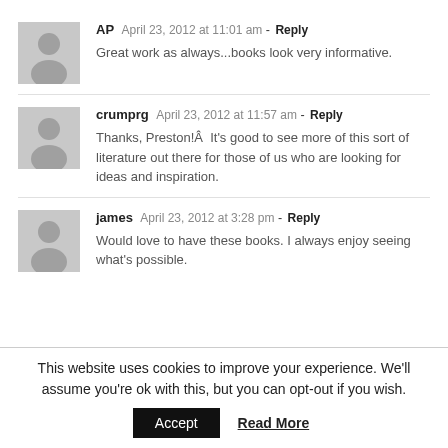AP  April 23, 2012 at 11:01 am - Reply
Great work as always...books look very informative.
crumprg  April 23, 2012 at 11:57 am - Reply
Thanks, Preston!Â  It's good to see more of this sort of literature out there for those of us who are looking for ideas and inspiration.
james  April 23, 2012 at 3:28 pm - Reply
Would love to have these books. I always enjoy seeing what's possible.
This website uses cookies to improve your experience. We'll assume you're ok with this, but you can opt-out if you wish.
Accept  Read More